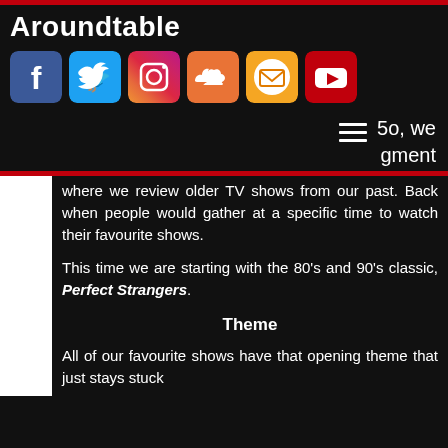Aroundtable
[Figure (infographic): Row of six social media icons: Facebook (blue), Twitter (blue), Instagram (pink/purple), SoundCloud (orange), Email/newsletter (white/orange envelope), YouTube (red)]
So, we gment
where we review older TV shows from our past. Back when people would gather at a specific time to watch their favourite shows.
This time we are starting with the 80's and 90's classic, Perfect Strangers.
Theme
All of our favourite shows have that opening theme that just stays stuck